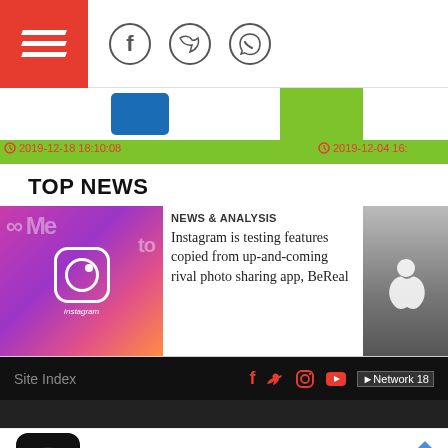Navigation header with logo and social icons (Facebook, Twitter, WhatsApp)
[Figure (screenshot): Green bar with article card images and timestamps: 2019-12-18 18:10:08 and 2019-12-04 16:...]
TOP NEWS
[Figure (photo): Instagram app logo on phone with Meta branding in background]
NEWS & ANALYSIS
Instagram is testing features copied from up-and-coming rival photo sharing app, BeReal
[Figure (photo): Apple logo on glass building]
Site Index  [social icons: Facebook, Twitter, Instagram, YouTube]  Network 18
Online Ordering Available
Crumbl Cookies - Ashburn